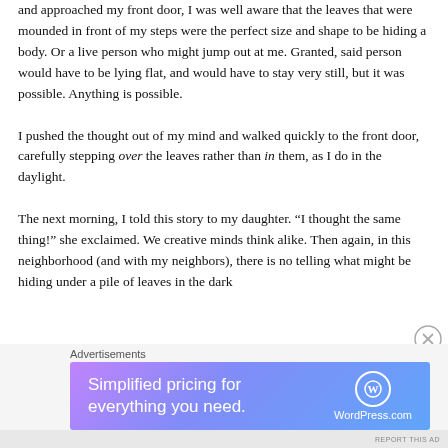and approached my front door, I was well aware that the leaves that were mounded in front of my steps were the perfect size and shape to be hiding a body. Or a live person who might jump out at me. Granted, said person would have to be lying flat, and would have to stay very still, but it was possible. Anything is possible.

I pushed the thought out of my mind and walked quickly to the front door, carefully stepping over the leaves rather than in them, as I do in the daylight.

The next morning, I told this story to my daughter. “I thought the same thing!” she exclaimed. We creative minds think alike. Then again, in this neighborhood (and with my neighbors), there is no telling what might be hiding under a pile of leaves in the dark
Advertisements
[Figure (other): WordPress.com advertisement banner with gradient purple-blue background. Text reads 'Simplified pricing for everything you need.' with WordPress.com logo on right.]